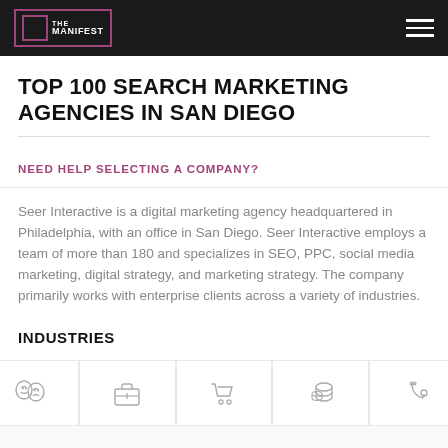THE MANIFEST
TOP 100 SEARCH MARKETING AGENCIES IN SAN DIEGO
NEED HELP SELECTING A COMPANY?
Seer Interactive is a digital marketing agency headquartered in Philadelphia, with an office in San Diego. Seer Interactive employs a team of more than 180 and specializes in SEO, PPC, social media marketing, digital strategy, and marketing strategy. The company primarily works with enterprise clients across a variety of industries.
INDUSTRIES
[Figure (illustration): Five industry icons in a row: theater masks, briefcase, shopping cart, stack of coins/database, medical stethoscope]